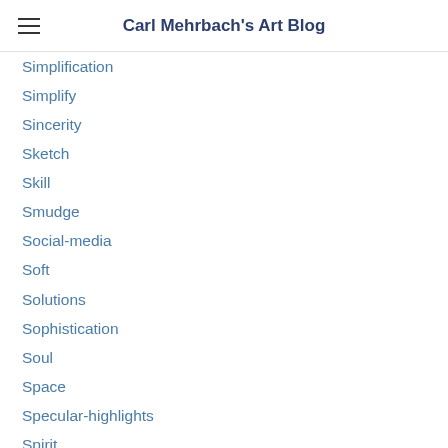Carl Mehrbach's Art Blog
Simplification
Simplify
Sincerity
Sketch
Skill
Smudge
Social-media
Soft
Solutions
Sophistication
Soul
Space
Specular-highlights
Spirit
Spiritual
Spontaneous
Spotlight
Staccato